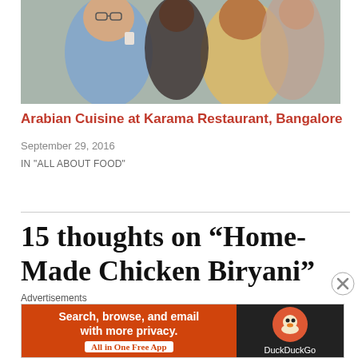[Figure (photo): Photo of people eating/drinking at a restaurant, showing two or more individuals]
Arabian Cuisine at Karama Restaurant, Bangalore
September 29, 2016
IN "ALL ABOUT FOOD"
15 thoughts on “Home-Made Chicken Biryani”
[Figure (photo): Avatar/profile image with mountain silhouette]
Lyf&Spice
Advertisements
[Figure (other): DuckDuckGo advertisement banner: Search, browse, and email with more privacy. All in One Free App]